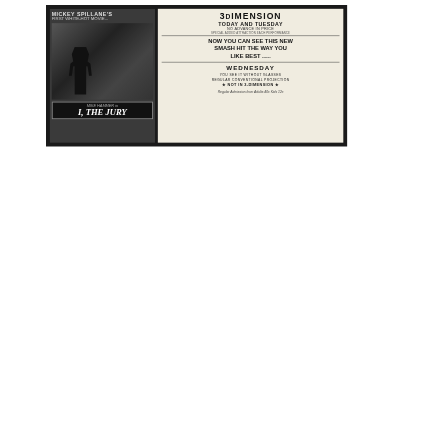[Figure (other): A vintage newspaper advertisement for Mickey Spillane's '3 Dimension' movie (I, The Jury). The ad shows a black bordered box with the film title at top, a movie poster image on the left showing a man, and text on the right. Text includes: 'MICKEY SPILLANE's 3 DIMENSION', 'TODAY AND TUESDAY', 'NO ADVANCE IN PRICE', 'FIRST WHITE-HOT MOVIE...', 'NOW YOU CAN SEE THIS NEW SMASH HIT THE WAY YOU LIKE BEST', 'WEDNESDAY', 'YOU SEE IT WITHOUT GLASSES', 'REGULAR CONVENTIONAL PROJECTION', 'NOT IN 3-DIMENSION', 'Regular Admission from Adults 40c Kids 12c'. The left side shows the movie poster for 'I, The Jury'.]